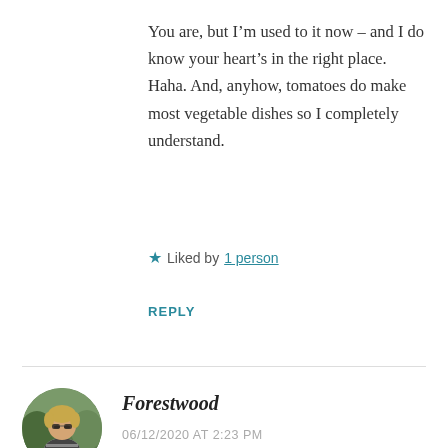You are, but I’m used to it now – and I do know your heart’s in the right place. Haha. And, anyhow, tomatoes do make most vegetable dishes so I completely understand.
★ Liked by 1 person
REPLY
Forestwood
06/12/2020 AT 2:23 PM
Would reducing your portions and eating those yummy meals help at all, MR. Of course, this